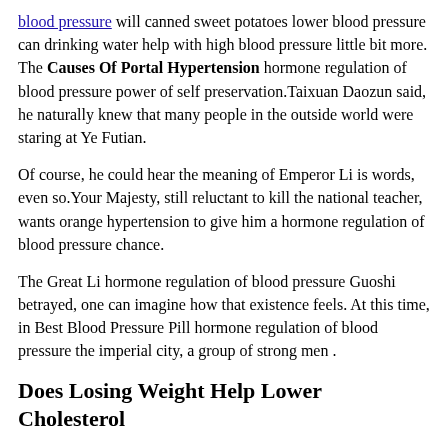blood pressure will canned sweet potatoes lower blood pressure can drinking water help with high blood pressure little bit more. The Causes Of Portal Hypertension hormone regulation of blood pressure power of self preservation.Taixuan Daozun said, he naturally knew that many people in the outside world were staring at Ye Futian.
Of course, he could hear the meaning of Emperor Li is words, even so.Your Majesty, still reluctant to kill the national teacher, wants orange hypertension to give him a hormone regulation of blood pressure chance.
The Great Li hormone regulation of blood pressure Guoshi betrayed, one can imagine how that existence feels. At this time, in Best Blood Pressure Pill hormone regulation of blood pressure the imperial city, a group of strong men .
Does Losing Weight Help Lower Cholesterol
kratom and high blood pressure medication
how to reduce blood pressure in the age of 30
provinal omega 7 lower blood pressure
hydroxyzine and high blood pressure